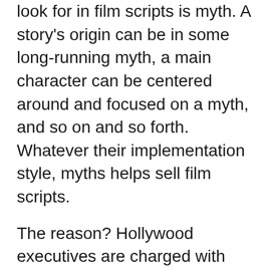look for in film scripts is myth. A story's origin can be in some long-running myth, a main character can be centered around and focused on a myth, and so on and so forth. Whatever their implementation style, myths helps sell film scripts.
The reason? Hollywood executives are charged with selling movies not only to America but the world! Myths are universally relatable, culturally transformative, and widely recognized stories that won't get lost in translation, and that means more popularity and more profits for a film. Furthermore, a larger number of individuals will be able to find meaning in the movies with mythical elements, and this point will result in boosted long-term sales and meaning.